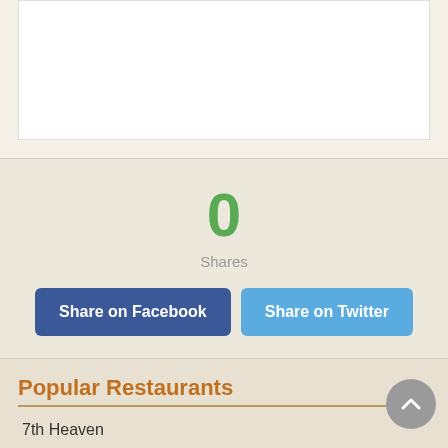[Figure (screenshot): White content box area at top of card]
0
Shares
Share on Facebook
Share on Twitter
Popular Restaurants
7th Heaven